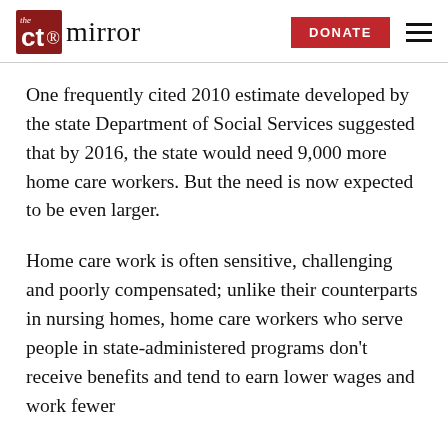the ct mirror | DONATE
One frequently cited 2010 estimate developed by the state Department of Social Services suggested that by 2016, the state would need 9,000 more home care workers. But the need is now expected to be even larger.
Home care work is often sensitive, challenging and poorly compensated; unlike their counterparts in nursing homes, home care workers who serve people in state-administered programs don't receive benefits and tend to earn lower wages and work fewer